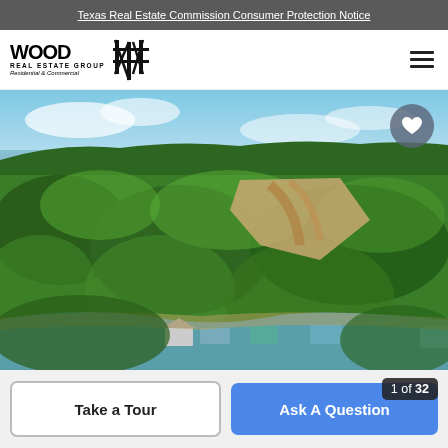Texas Real Estate Commission Consumer Protection Notice
[Figure (logo): Wood Real Estate Group logo with stylized tree/fence icon and text 'REAL ESTATE GROUP Residential & Commercial']
[Figure (photo): Aerial drone photo of a wooded lakefront property with cleared land for development, a lake/reservoir in the background, and boat docks visible along the shoreline.]
1 of 32
Take a Tour
Ask A Question